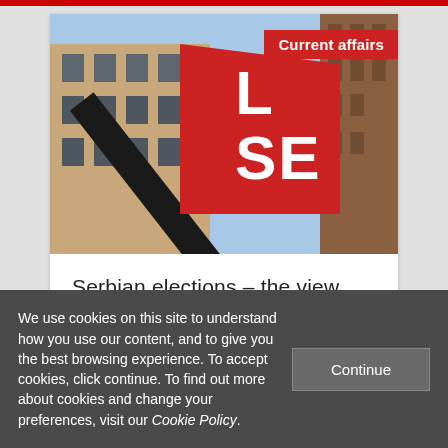[Figure (photo): Photograph of the LSE (London School of Economics) red triangular sign on the building facade, viewed from below against a blue sky and brick buildings]
Current affairs
Serbian elections – the view from the UK
We use cookies on this site to understand how you use our content, and to give you the best browsing experience. To accept cookies, click continue. To find out more about cookies and change your preferences, visit our Cookie Policy.